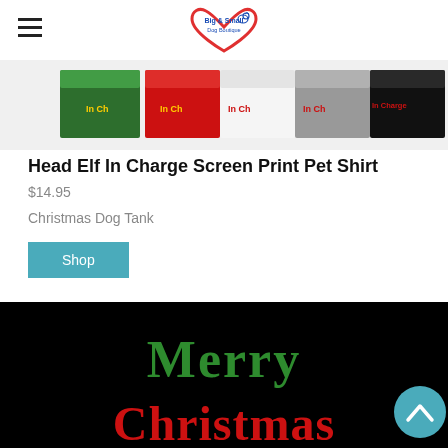Big & Small Dog Boutique
[Figure (photo): Row of colorful pet shirts in green, red, white, gray, and black with 'In Charge' text printed on them]
Head Elf In Charge Screen Print Pet Shirt
$14.95
Christmas Dog Tank
Shop
[Figure (photo): Black background with 'Merry Christmas' text in green and red decorative lettering]